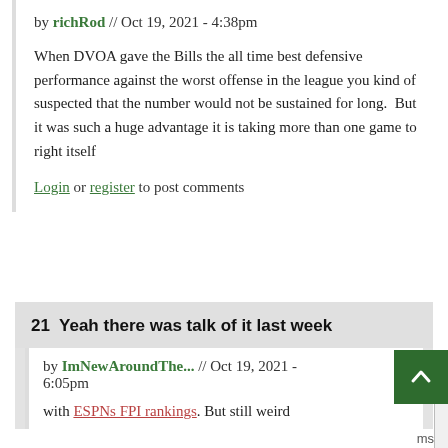by richRod // Oct 19, 2021 - 4:38pm
When DVOA gave the Bills the all time best defensive performance against the worst offense in the league you kind of suspected that the number would not be sustained for long.  But it was such a huge advantage it is taking more than one game to right itself
Login or register to post comments
21  Yeah there was talk of it last week
by ImNewAroundThe... // Oct 19, 2021 - 6:05pm
with ESNPs FPI rankings. But still weird